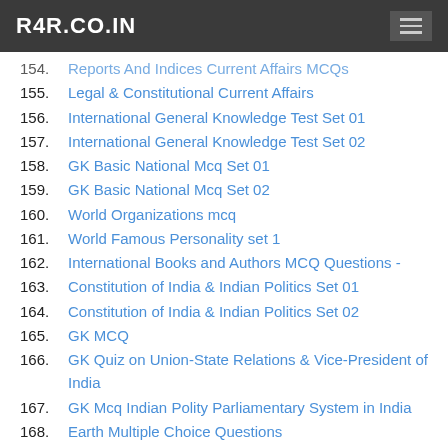R4R.CO.IN
154. Reports And Indices Current Affairs MCQs
155. Legal & Constitutional Current Affairs
156. International General Knowledge Test Set 01
157. International General Knowledge Test Set 02
158. GK Basic National Mcq Set 01
159. GK Basic National Mcq Set 02
160. World Organizations mcq
161. World Famous Personality set 1
162. International Books and Authors MCQ Questions -
163. Constitution of India & Indian Politics Set 01
164. Constitution of India & Indian Politics Set 02
165. GK MCQ
166. GK Quiz on Union-State Relations & Vice-President of India
167. GK Mcq Indian Polity Parliamentary System in India
168. Earth Multiple Choice Questions
169. Earth Multiple Choice Questions set 2